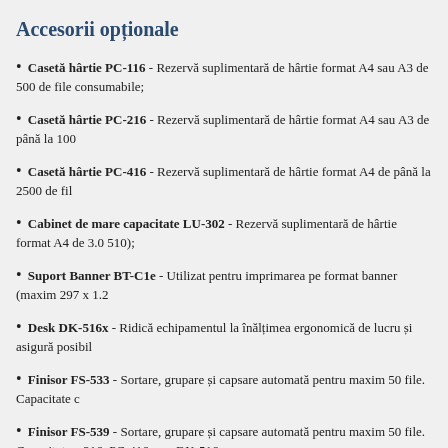Accesorii opționale
Casetă hârtie PC-116 - Rezervă suplimentară de hârtie format A4 sau A3 de 500 de file consumabile;
Casetă hârtie PC-216 - Rezervă suplimentară de hârtie format A4 sau A3 de până la 100
Casetă hârtie PC-416 - Rezervă suplimentară de hârtie format A4 de până la 2500 de fil
Cabinet de mare capacitate LU-302 - Rezervă suplimentară de hârtie format A4 de 3.0 510);
Suport Banner BT-C1e - Utilizat pentru imprimarea pe format banner (maxim 297 x 1.2
Desk DK-516x - Ridică echipamentul la înălțimea ergonomică de lucru și asigură posibil
Finisor FS-533 - Sortare, grupare și capsare automată pentru maxim 50 file. Capacitate c
Finisor FS-539 - Sortare, grupare și capsare automată pentru maxim 50 file. Capacitate c 216, PC-416, sau DK-516x;